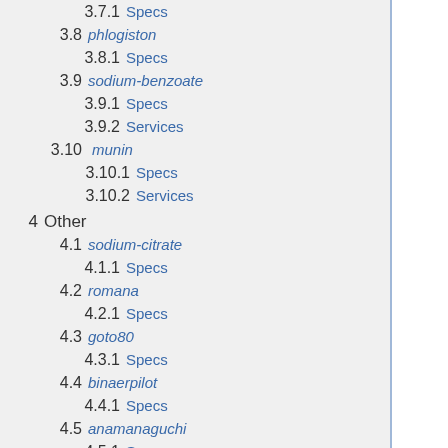3.7.1  Specs
3.8  phlogiston
3.8.1  Specs
3.9  sodium-benzoate
3.9.1  Specs
3.9.2  Services
3.10  munin
3.10.1  Specs
3.10.2  Services
4  Other
4.1  sodium-citrate
4.1.1  Specs
4.2  romana
4.2.1  Specs
4.3  goto80
4.3.1  Specs
4.4  binaerpilot
4.4.1  Specs
4.5  anamanaguchi
4.5.1  Specs